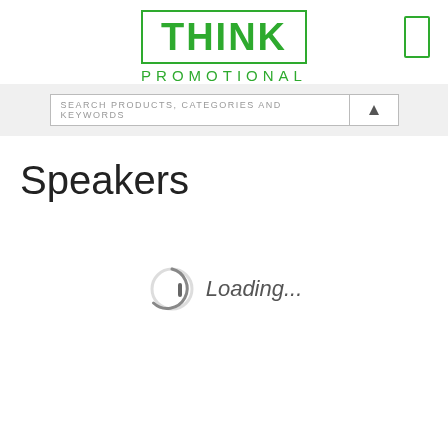[Figure (logo): Think Promotional logo: green bold THINK text inside a green rectangular border, with PROMOTIONAL in green spaced letters below. A green rectangle icon appears in the top-right corner.]
SEARCH PRODUCTS, CATEGORIES AND KEYWORDS
Speakers
[Figure (other): Loading spinner circle (partially completed arc in grey) with italic 'Loading...' text to the right.]